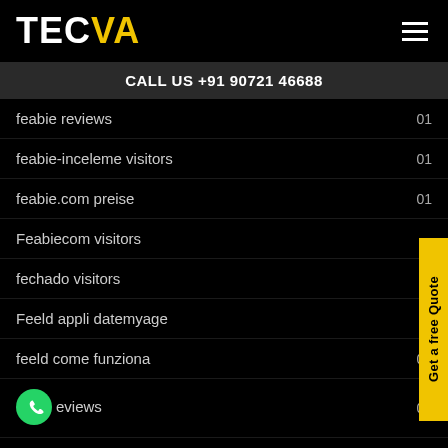TECVA
CALL US +91 90721 46688
feabie reviews  01
feabie-inceleme visitors  01
feabie.com preise  01
Feabiecom visitors
fechado visitors
Feeld appli datemyage
feeld come funziona  01
Feeld reviews  02
feeld sign in  01